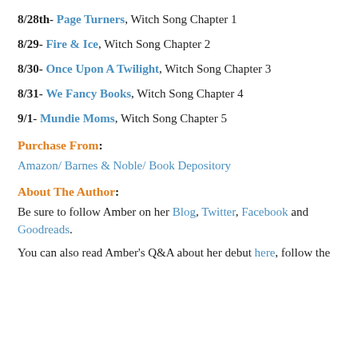8/28th- Page Turners, Witch Song Chapter 1
8/29- Fire & Ice, Witch Song Chapter 2
8/30- Once Upon A Twilight, Witch Song Chapter 3
8/31- We Fancy Books, Witch Song Chapter 4
9/1- Mundie Moms, Witch Song Chapter 5
Purchase From:
Amazon/ Barnes & Noble/ Book Depository
About The Author:
Be sure to follow Amber on her Blog, Twitter, Facebook and Goodreads.
You can also read Amber's Q&A about her debut here, follow the